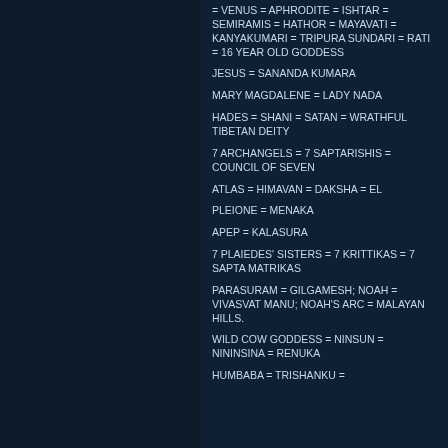= VENUS = APHRODITE = ISHTAR = SEMIRAMIS = HATHOR = MAYAVATI = KANYAKUMARI = TRIPURA SUNDARI = RATI = 16 YEAR OLD GODDESS
JESUS = SANANDA KUMARA
MARY MAGDALENE = LADY NADA
HADES = SHANI = SATAN = WRATHFUL TIBETAN DEITY
7 ARCHANGELS = 7 SAPTARISHIS = COUNCIL OF SEVEN
ATLAS = HIMAVAN = DAKSHA = EL
PLEIONE = MENAKA
APEP = KALASURA
7 PLAIEDES' SISTERS = 7 KRITTIKAS = 7 SAPTA MATRIKAS
PARASURAM = GILGAMESH; NOAH = VIVASVAT MANU; NOAH'S ARC = MALAYAN HILLS.
WILD COW GODDESS = NINSUN = NININSINA = RENUKA
HUMBABA = TRISHANKU =